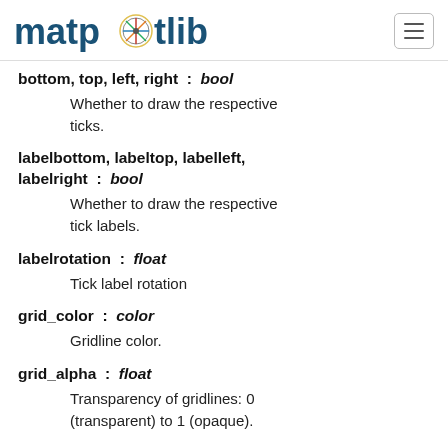matplotlib
bottom, top, left, right : bool
Whether to draw the respective ticks.
labelbottom, labeltop, labelleft, labelright : bool
Whether to draw the respective tick labels.
labelrotation : float
Tick label rotation
grid_color : color
Gridline color.
grid_alpha : float
Transparency of gridlines: 0 (transparent) to 1 (opaque).